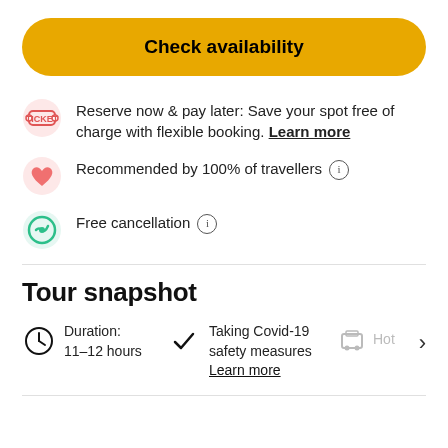Check availability
Reserve now & pay later: Save your spot free of charge with flexible booking. Learn more
Recommended by 100% of travellers (i)
Free cancellation (i)
Tour snapshot
Duration: 11–12 hours
Taking Covid-19 safety measures Learn more
Hot...